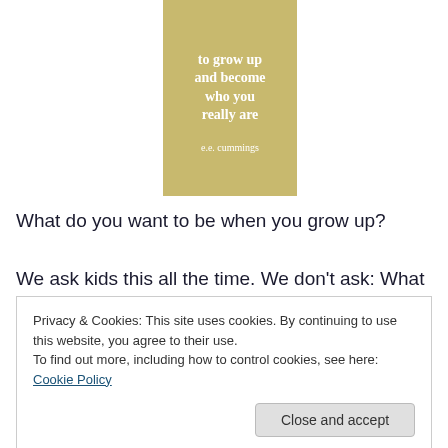[Figure (illustration): Gold/tan colored card with white bold italic text reading 'to grow up and become who you really are' attributed to 'e.e. cummings']
What do you want to be when you grow up?
We ask kids this all the time. We don’t ask: What are you
Privacy & Cookies: This site uses cookies. By continuing to use this website, you agree to their use.
To find out more, including how to control cookies, see here: Cookie Policy